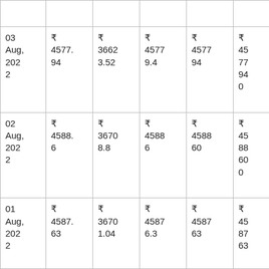| 03 Aug, 2022 | ₹ 4577.94 | ₹ 36623.52 | ₹ 45779.4 | ₹ 457794 | ₹ 457794 0 | ₹ 533378.78 |
| 02 Aug, 2022 | ₹ 4588.6 | ₹ 36708.8 | ₹ 45886 | ₹ 458860 | ₹ 458860 0 | ₹ 535303.08 |
| 01 Aug, 2022 | ₹ 4587.63 | ₹ 36701.04 | ₹ 45876.3 | ₹ 458763 | ₹ 458763 | ₹ 534391.77 |